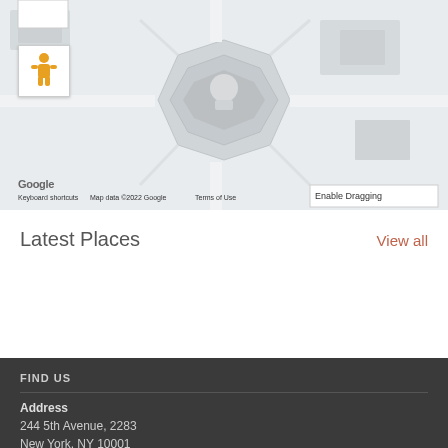[Figure (map): Google Maps embedded map showing a top-down view of a building/monument area with a pegman icon, Google logo, attribution text, and Enable Dragging button]
Latest Places
View all
FIND US
Address
244 5th Avenue, 2283
New York, NY 10001